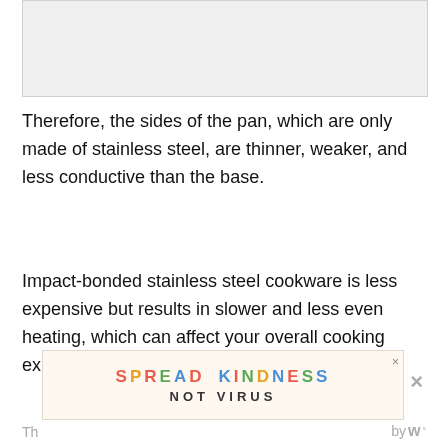[Figure (other): Gray placeholder image area at the top of the page]
Therefore, the sides of the pan, which are only made of stainless steel, are thinner, weaker, and less conductive than the base.
Impact-bonded stainless steel cookware is less expensive but results in slower and less even heating, which can affect your overall cooking experience.
[Figure (other): Advertisement banner reading SPREAD KINDNESS NOT VIRUS with colorful letters and a close button]
Th... by w°